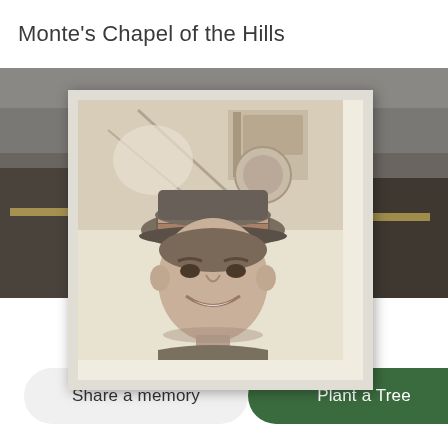Monte's Chapel of the Hills
[Figure (photo): Background photo showing firefighters with a yellow hard hat in upper portion, with a framed sepia-tone portrait of a smiling man wearing a captain's cap, displayed as a framed photo overlay.]
Share a memory
Plant a Tree